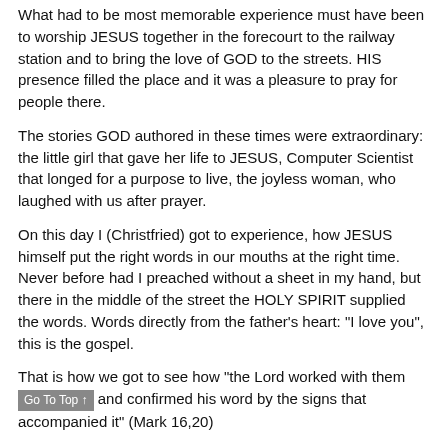What had to be most memorable experience must have been to worship JESUS together in the forecourt to the railway station and to bring the love of GOD to the streets. HIS presence filled the place and it was a pleasure to pray for people there.
The stories GOD authored in these times were extraordinary: the little girl that gave her life to JESUS, Computer Scientist that longed for a purpose to live, the joyless woman, who laughed with us after prayer.
On this day I (Christfried) got to experience, how JESUS himself put the right words in our mouths at the right time. Never before had I preached without a sheet in my hand, but there in the middle of the street the HOLY SPIRIT supplied the words. Words directly from the father's heart: "I love you", this is the gospel.
That is how we got to see how "the Lord worked with them and confirmed his word by the signs that accompanied it" (Mark 16,20)